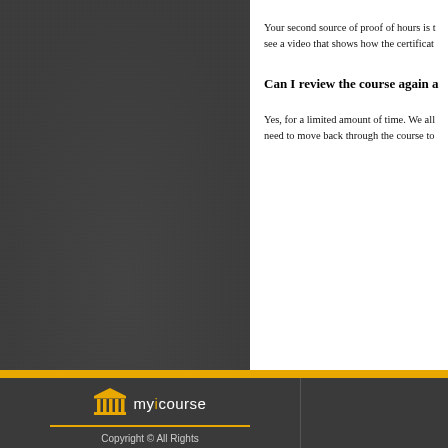Your second source of proof of hours is t… see a video that shows how the certificat…
Can I review the course again a…
Yes, for a limited amount of time. We all… need to move back through the course to…
[Figure (logo): myicourse logo with golden building/columns icon and text 'myicourse' with the letter i in gold]
Copyright © All Rights Reserved.